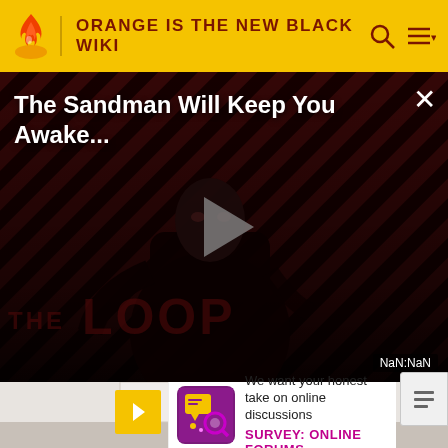ORANGE IS THE NEW BLACK WIKI
[Figure (screenshot): Video player thumbnail showing 'The Sandman Will Keep You Awake...' with a dark dramatic figure on a striped red/black background. A play button is shown in the center. 'THE LOOP' text watermark is visible. Timer shows NaN:NaN.]
[Figure (photo): Advertisement strip showing a kitchen interior with a red star/arrow motif]
We want your honest take on online discussions
SURVEY: ONLINE FORUMS